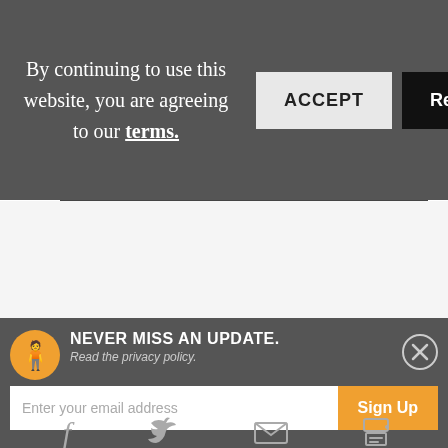By continuing to use this website, you are agreeing to our terms.
ACCEPT
Reject
ontent
NEVER MISS AN UPDATE.
Read the privacy policy.
Enter your email address
Sign Up